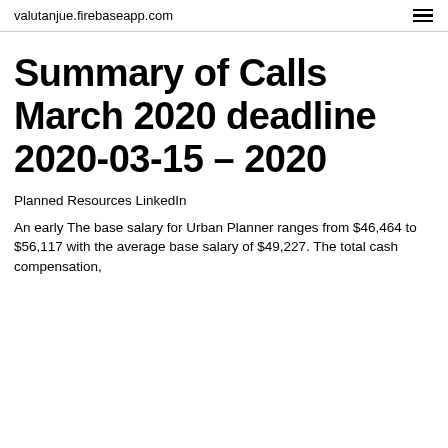valutanjue.firebaseapp.com
Summary of Calls March 2020 deadline 2020-03-15 – 2020
Planned Resources LinkedIn
An early The base salary for Urban Planner ranges from $46,464 to $56,117 with the average base salary of $49,227. The total cash compensation,